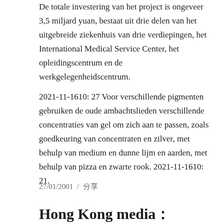De totale investering van het project is ongeveer 3,5 miljard yuan, bestaat uit drie delen van het uitgebreide ziekenhuis van drie verdiepingen, het International Medical Service Center, het opleidingscentrum en de werkgelegenheidscentrum.
2021-11-1610: 27 Voor verschillende pigmenten gebruiken de oude ambachtslieden verschillende concentraties van gel om zich aan te passen, zoals goedkeuring van concentraten en zilver, met behulp van medium en dunne lijm en aarden, met behulp van pizza en zwarte rook. 2021-11-1610: 21.
27/01/2001  /  分享
Hong Kong media： RMB